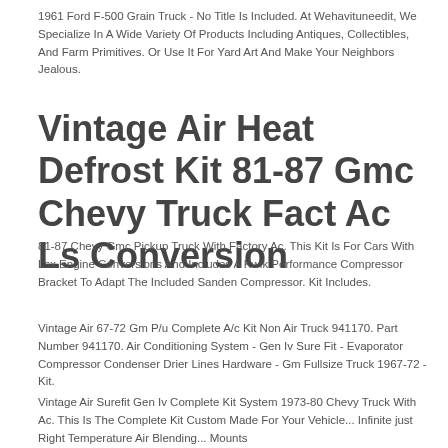1961 Ford F-500 Grain Truck - No Title Is Included. At Wehavituneedit, We Specialize In A Wide Variety Of Products Including Antiques, Collectibles, And Farm Primitives. Or Use It For Yard Art And Make Your Neighbors Jealous.
Vintage Air Heat Defrost Kit 81-87 Gmc Chevy Truck Fact Ac Ls Conversion
81-87 Chevy Gmc Pickup Truck With Factory Ac. This Kit Is For Cars With Lsx Engine Conversions And Includes A Kwik Performance Compressor Bracket To Adapt The Included Sanden Compressor. Kit Includes.
Vintage Air 67-72 Gm P/u Complete A/c Kit Non Air Truck 941170. Part Number 941170. Air Conditioning System - Gen Iv Sure Fit - Evaporator Compressor Condenser Drier Lines Hardware - Gm Fullsize Truck 1967-72 - Kit.
Vintage Air Surefit Gen Iv Complete Kit System 1973-80 Chevy Truck With Ac. This Is The Complete Kit Custom Made For Your Vehicle... Infinite just Right Temperature Air Blending... Mounts